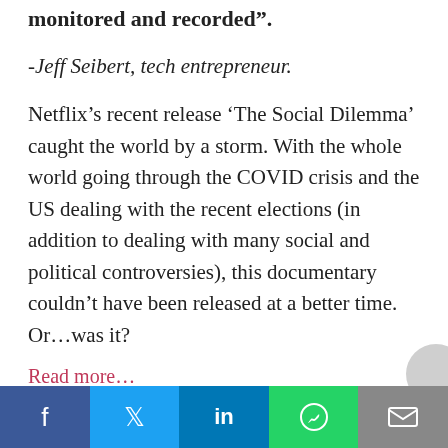monitored and recorded”.
-Jeff Seibert, tech entrepreneur.
Netflix’s recent release ‘The Social Dilemma’ caught the world by a storm. With the whole world going through the COVID crisis and the US dealing with the recent elections (in addition to dealing with many social and political controversies), this documentary couldn’t have been released at a better time. Or…was it?
Read more…
Can My Webcam Be Accessed Remotely?
Facebook | Twitter | LinkedIn | WhatsApp | Email